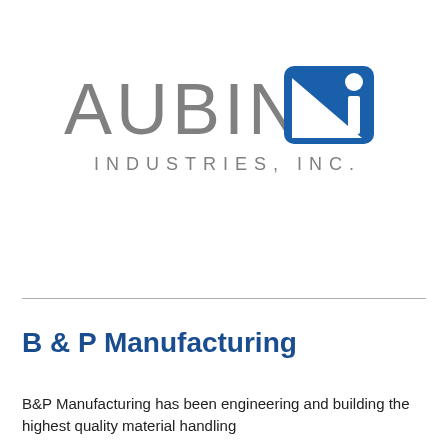[Figure (logo): Aubin Industries, Inc. logo — the word AUBIN in large grey letters followed by a blue rounded-square icon containing a white triangle and a white circle with letter i, and below it the text INDUSTRIES, INC. in spaced grey capital letters.]
B & P Manufacturing
B&P Manufacturing has been engineering and building the highest quality material handling